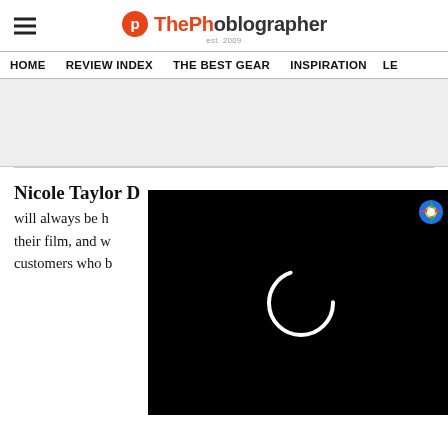ThePhoblographer est. 2009
HOME   REVIEW INDEX   THE BEST GEAR   INSPIRATION   LE...
[Figure (screenshot): Gray advertisement banner placeholder]
[Figure (screenshot): Video player overlay with loading spinner, close button, and browser extension icon on black background]
Nicole Taylor D... will always be h... their film, and w... customers who b... photography. Likewise, there will always be a few who want to go to the deep end and experience the creative control and personal satisfaction of developing their own film, and some folks just want to save money! Our personal journey with developing all types of film by